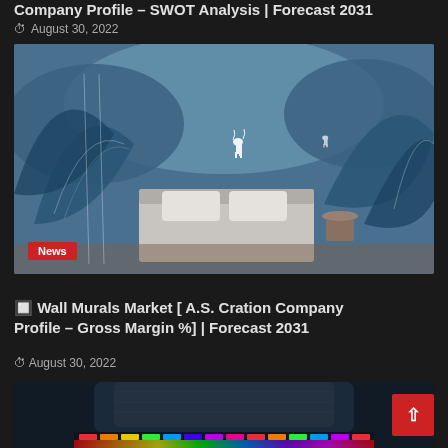Company Profile – SWOT Analysis | Forecast 2031
August 30, 2022
[Figure (photo): Decorative bedroom scene with blue leaf/floral wall mural wallpaper. A bed with white pillows is visible in the lower center. A 'News' badge is overlaid in the bottom-left corner.]
🔲 Wall Murals Market [ A.S. Cration Company Profile – Gross Margin %] | Forecast 2031
August 30, 2022
[Figure (photo): Close-up of a dark gaming chair with an RGB keyboard visible at the bottom, emitting colorful light. A scroll-to-top button (red, with upward chevron) is overlaid in the bottom-right.]